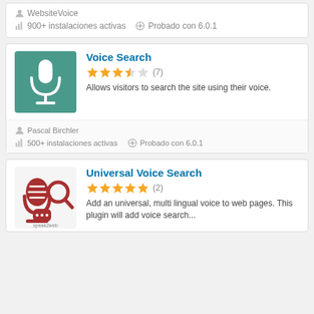WebsiteVoice
900+ instalaciones activas   Probado con 6.0.1
Voice Search
★★★★☆ (7)
Allows visitors to search the site using their voice.
Pascal Birchler
500+ instalaciones activas   Probado con 6.0.1
Universal Voice Search
★★★★★ (2)
Add an universal, multi lingual voice to web pages. This plugin will add voice search...